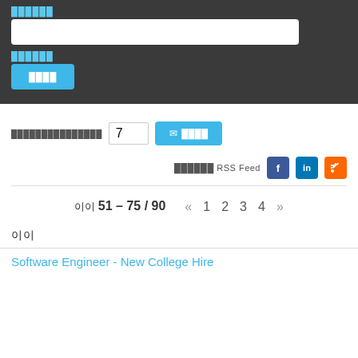██████
██████
████
███████████████  7
✉ ████
██████ RSS Feed
이 51 – 75 / 90
이이
Software Engineer - New College Hire